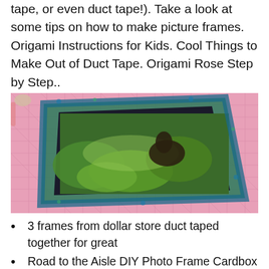tape, or even duct tape!). Take a look at some tips on how to make picture frames. Origami Instructions for Kids. Cool Things to Make Out of Duct Tape. Origami Rose Step by Step..
[Figure (photo): A photo of a picture frame made with decorative duct tape (blue/green peacock feather pattern) placed on a pink cutting mat. The frame contains a photograph of an animal (possibly a deer) in green vegetation.]
3 frames from dollar store duct taped together for great
Road to the Aisle DIY Photo Frame Cardbox
10 Amazing Duct-Tape Creations You Can Make Right